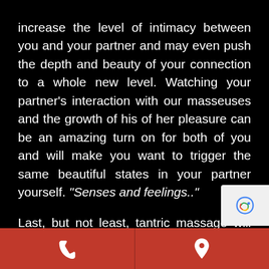increase the level of intimacy between you and your partner and may even push the depth and beauty of your connection to a whole new level. Watching your partner's interaction with our masseuses and the growth of his of her pleasure can be an amazing turn on for both of you and will make you want to trigger the same beautiful states in your partner yourself. “Senses and feelings..”

Last, but not least, tantric massage will sharpen your senses, increase your physical and energetic sensitivity and
[Figure (logo): reCAPTCHA badge icon in gray on white background]
Phone icon | Location/pin icon